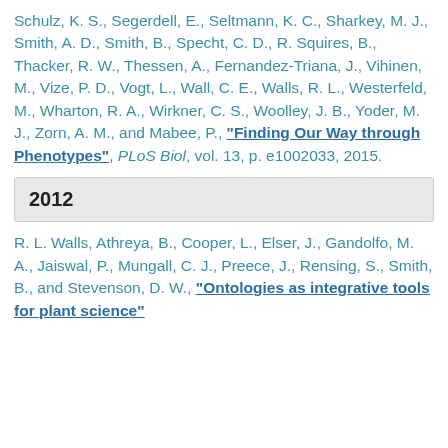Schulz, K. S., Segerdell, E., Seltmann, K. C., Sharkey, M. J., Smith, A. D., Smith, B., Specht, C. D., R. Squires, B., Thacker, R. W., Thessen, A., Fernandez-Triana, J., Vihinen, M., Vize, P. D., Vogt, L., Wall, C. E., Walls, R. L., Westerfeld, M., Wharton, R. A., Wirkner, C. S., Woolley, J. B., Yoder, M. J., Zorn, A. M., and Mabee, P., "Finding Our Way through Phenotypes", PLoS Biol, vol. 13, p. e1002033, 2015.
2012
R. L. Walls, Athreya, B., Cooper, L., Elser, J., Gandolfo, M. A., Jaiswal, P., Mungall, C. J., Preece, J., Rensing, S., Smith, B., and Stevenson, D. W., "Ontologies as integrative tools for plant science"